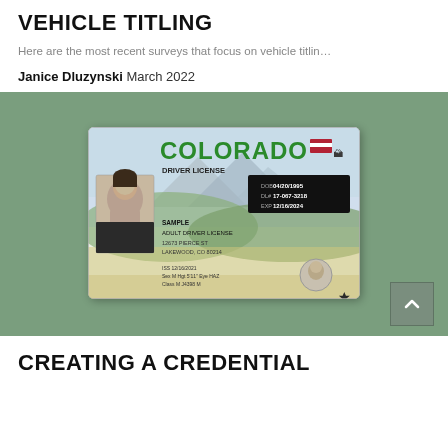VEHICLE TITLING
Here are the most recent surveys that focus on vehicle titlin…
Janice Dluzynski March 2022
[Figure (photo): Colorado Driver License sample card showing a woman's photo, DRIVER LICENSE text, COLORADO in green, dates 04/20/1995, 17-067-3218, 12/16/2024, and address SAMPLE ADULT DRIVER LICENSE, LAKEWOOD CO 80214]
CREATING A CREDENTIAL